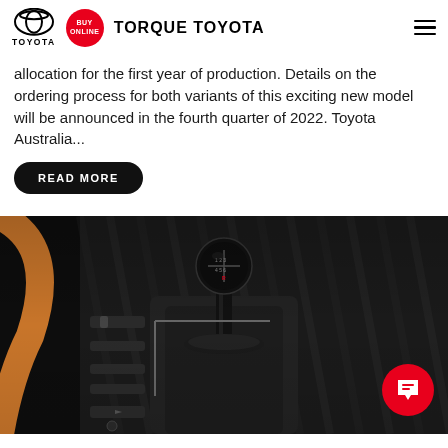TORQUE TOYOTA
allocation for the first year of production. Details on the ordering process for both variants of this exciting new model will be announced in the fourth quarter of 2022. Toyota Australia...
READ MORE
[Figure (photo): Close-up photo of a manual gear shift knob in a Toyota vehicle interior, showing carbon fibre trim and center console controls. A red circular chat/support badge is visible in the bottom right corner.]